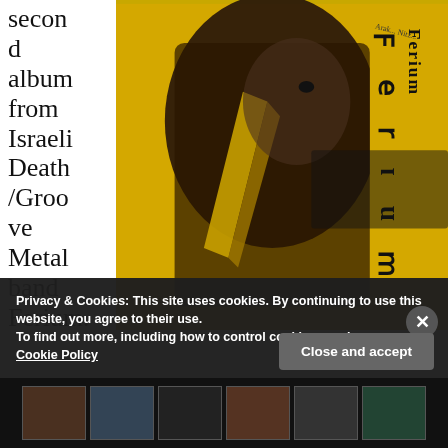second album from Israeli Death/Groove Metal band Ferium.
[Figure (photo): Album cover art for Ferium showing a dark creature figure with a claw/talon against a yellow and black background with the band name 'Ferium' visible in gothic lettering]
Privacy & Cookies: This site uses cookies. By continuing to use this website, you agree to their use.
To find out more, including how to control cookies, see here:
Cookie Policy
Close and accept